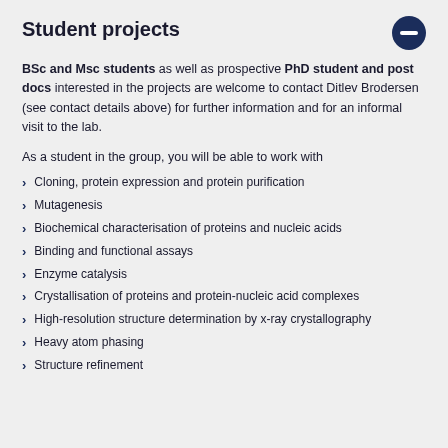Student projects
BSc and Msc students as well as prospective PhD student and post docs interested in the projects are welcome to contact Ditlev Brodersen (see contact details above) for further information and for an informal visit to the lab.
As a student in the group, you will be able to work with
Cloning, protein expression and protein purification
Mutagenesis
Biochemical characterisation of proteins and nucleic acids
Binding and functional assays
Enzyme catalysis
Crystallisation of proteins and protein-nucleic acid complexes
High-resolution structure determination by x-ray crystallography
Heavy atom phasing
Structure refinement